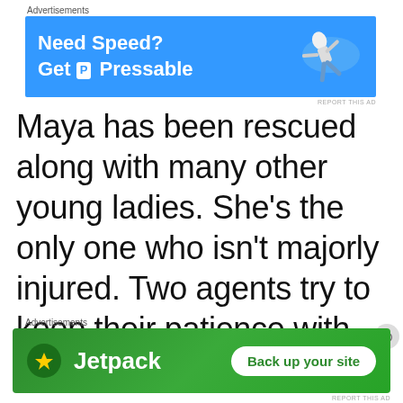[Figure (screenshot): Top advertisement banner: blue background with white bold text 'Need Speed? Get P Pressable' and a figure of a person flying on the right side.]
Maya has been rescued along with many other young ladies. She's the only one who isn't majorly injured. Two agents try to keep their patience with her
[Figure (screenshot): Bottom advertisement banner: green background with Jetpack logo and text, and a 'Back up your site' white button.]